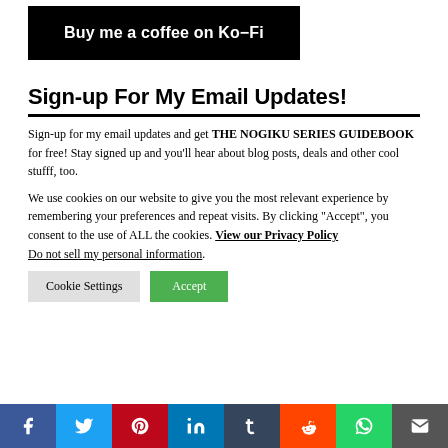[Figure (other): Black button: Buy me a coffee on Ko-Fi]
Sign-up For My Email Updates!
Sign-up for my email updates and get THE NOGIKU SERIES GUIDEBOOK for free! Stay signed up and you'll hear about blog posts, deals and other cool stufff, too.
We use cookies on our website to give you the most relevant experience by remembering your preferences and repeat visits. By clicking "Accept", you consent to the use of ALL the cookies. View our Privacy Policy
Do not sell my personal information.
[Figure (other): Cookie consent buttons: Cookie Settings and Accept]
Social share bar: Facebook, Twitter, Pinterest, LinkedIn, Tumblr, Reddit, WhatsApp, Email